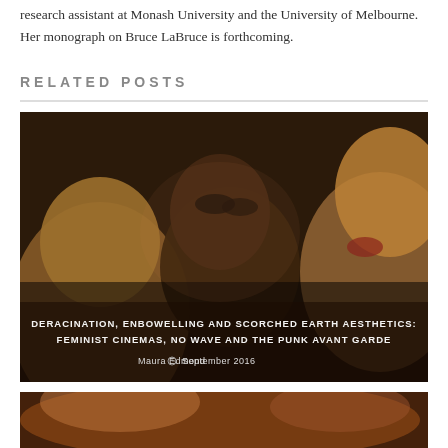research assistant at Monash University and the University of Melbourne. Her monograph on Bruce LaBruce is forthcoming.
RELATED POSTS
[Figure (photo): Dark warm-toned cinematic still showing two faces with dramatic makeup in close-up, overlaid with article title and metadata]
DERACINATION, ENBOWELLING AND SCORCHED EARTH AESTHETICS: FEMINIST CINEMAS, NO WAVE AND THE PUNK AVANT GARDE
Maura Edmond  September 2016
[Figure (photo): Partial view of another article thumbnail image showing warm reddish tones at the bottom of the page]